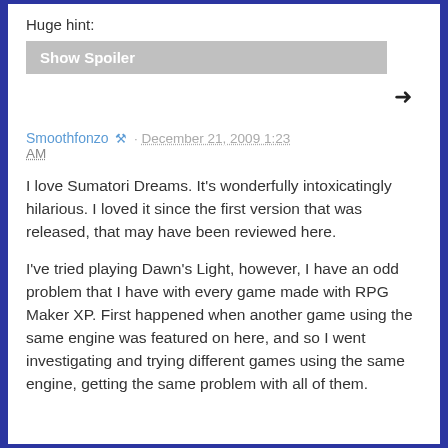Huge hint:
Show Spoiler
Smoothfonzo · December 21, 2009 1:23 AM
I love Sumatori Dreams. It's wonderfully intoxicatingly hilarious. I loved it since the first version that was released, that may have been reviewed here.
I've tried playing Dawn's Light, however, I have an odd problem that I have with every game made with RPG Maker XP. First happened when another game using the same engine was featured on here, and so I went investigating and trying different games using the same engine, getting the same problem with all of them.